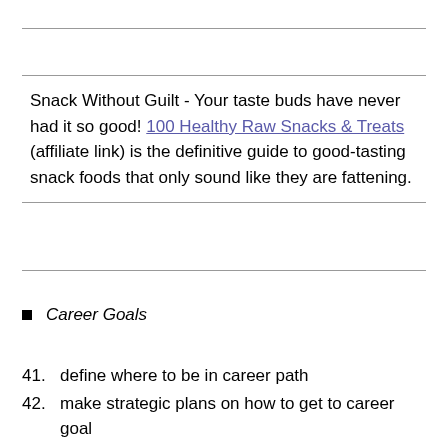Snack Without Guilt - Your taste buds have never had it so good! 100 Healthy Raw Snacks & Treats (affiliate link) is the definitive guide to good-tasting snack foods that only sound like they are fattening.
Career Goals
41. define where to be in career path
42. make strategic plans on how to get to career goal